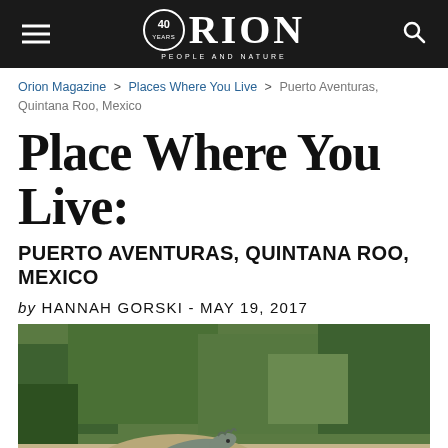ORION — 40 Years — People and Nature
Orion Magazine > Places Where You Live > Puerto Aventuras, Quintana Roo, Mexico
Place Where You Live:
PUERTO AVENTURAS, QUINTANA ROO, MEXICO
by HANNAH GORSKI - MAY 19, 2017
[Figure (photo): An iguana resting on rocky terrain with green foliage in the background, photographed in Puerto Aventuras, Mexico.]